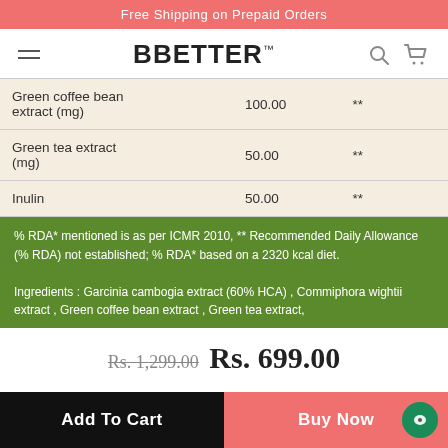Free Shipping on Prepaid Orders
[Figure (screenshot): BBetter brand logo and navigation bar with hamburger menu, search icon, and cart icon]
| Ingredient | Amount | % RDA |
| --- | --- | --- |
| Green coffee bean extract (mg) | 100.00 | ** |
| Green tea extract (mg) | 50.00 | ** |
| Inulin | 50.00 | ** |
% RDA* mentioned is as per ICMR 2010, ** Recommended Daily Allowance (% RDA) not established; % RDA* based on a 2320 kcal diet.
Ingredients : Garcinia cambogia extract (60% HCA) , Commiphora wightii extract , Green coffee bean extract , Green tea extract,
Rs. 1,299.00  Rs. 699.00
Add To Cart   Buy Now